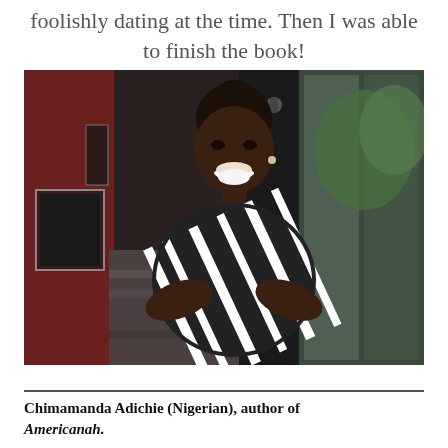foolishly dating at the time. Then I was able to finish the book!
[Figure (photo): Portrait photo of Chimamanda Adichie, a Nigerian woman smiling, wearing a black and white striped top, standing indoors near a glass door with stairs and artwork visible in the background.]
Chimamanda Adichie (Nigerian), author of Americanah.